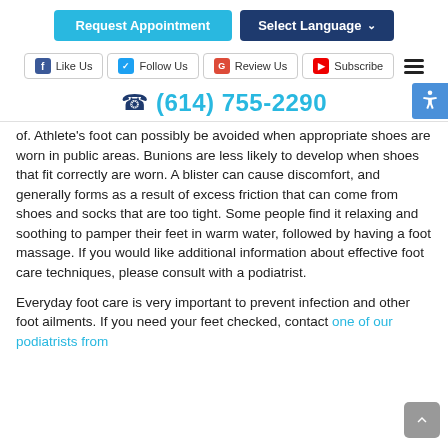Request Appointment | Select Language
Like Us | Follow Us | Review Us | Subscribe
(614) 755-2290
of. Athlete's foot can possibly be avoided when appropriate shoes are worn in public areas. Bunions are less likely to develop when shoes that fit correctly are worn. A blister can cause discomfort, and generally forms as a result of excess friction that can come from shoes and socks that are too tight. Some people find it relaxing and soothing to pamper their feet in warm water, followed by having a foot massage. If you would like additional information about effective foot care techniques, please consult with a podiatrist.
Everyday foot care is very important to prevent infection and other foot ailments. If you need your feet checked, contact one of our podiatrists from